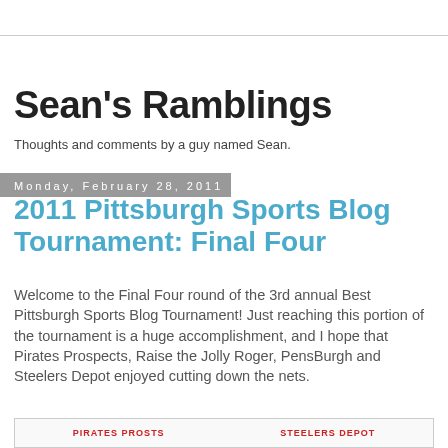Sean's Ramblings
Thoughts and comments by a guy named Sean.
Monday, February 28, 2011
2011 Pittsburgh Sports Blog Tournament: Final Four
Welcome to the Final Four round of the 3rd annual Best Pittsburgh Sports Blog Tournament! Just reaching this portion of the tournament is a huge accomplishment, and I hope that Pirates Prospects, Raise the Jolly Roger, PensBurgh and Steelers Depot enjoyed cutting down the nets.
[Figure (other): Partial image bar at bottom showing two red text labels side by side, contents partially cut off]